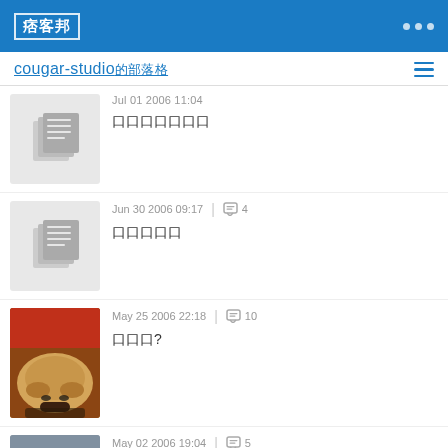痞客邦
cougar-studio的部落格
Jul 01 2006 11:04 — 口口口口口口口
Jun 30 2006 09:17 | 4 comments — 口口口口口
May 25 2006 22:18 | 10 comments — 口口口?
May 02 2006 19:04 | 5 comments — 口口口口口^^